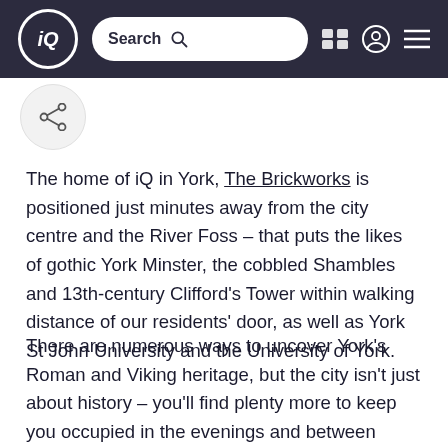iQ | Search
[Figure (other): Share icon button in a circular white container]
The home of iQ in York, The Brickworks is positioned just minutes away from the city centre and the River Foss – that puts the likes of gothic York Minster, the cobbled Shambles and 13th-century Clifford's Tower within walking distance of our residents' door, as well as York St John University and the University of York.
There are numerous ways to uncover York's Roman and Viking heritage, but the city isn't just about history – you'll find plenty more to keep you occupied in the evenings and between lectures. We take a look at